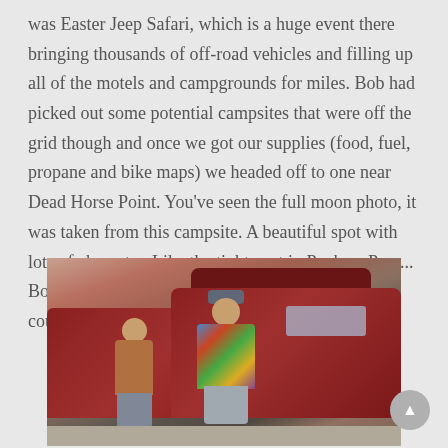was Easter Jeep Safari, which is a huge event there bringing thousands of off-road vehicles and filling up all of the motels and campgrounds for miles. Bob had picked out some potential campsites that were off the grid though and once we got our supplies (food, fuel, propane and bike maps) we headed off to one near Dead Horse Point. You've seen the full moon photo, it was taken from this campsite. A beautiful spot with lots of character. Like the tight spot in Puckers Pass... Bob has driven it in his Syncro but I didn't have the courage to give it a try.
[Figure (photo): Two men standing in front of a dark red Volkswagen Westfalia van and another red SUV in a parking area. The man on the left wears a brown shirt and grey pants. The man on the right wears a colorful tie-dye sweatshirt and a grey cap.]